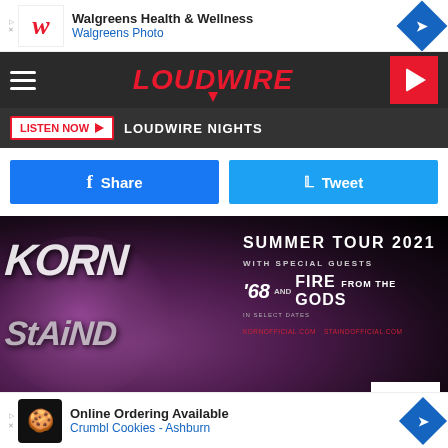[Figure (other): Walgreens Health & Wellness / Walgreens Photo advertisement banner]
[Figure (logo): Loudwire website navigation bar with hamburger menu, Loudwire logo in red italic, and red play button]
LISTEN NOW ▶  LOUDWIRE NIGHTS
[Figure (other): Share on Facebook and Tweet buttons row]
[Figure (other): Korn Summer Tour 2021 promotional banner with Staind, featuring graffiti-style band logos on the left and tour details on the right: WITH SPECIAL GUESTS '68 and FIRE FROM THE GODS, kornofficial.com, staindofficial.com, Live Nation]
Korn Summer 2021 U.S. Tour With Staind
Aug. 0...
[Figure (other): Crumbl Cookies - Ashburn advertisement: Online Ordering Available, Crumbl Cookies - Ashburn]